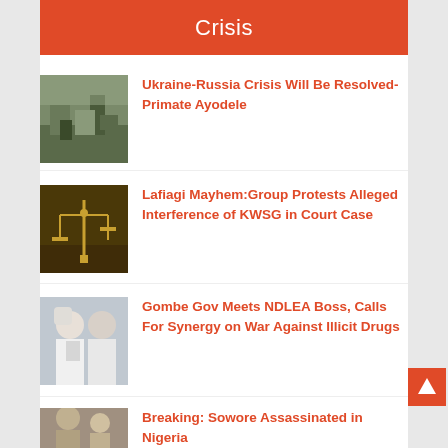Crisis
[Figure (photo): Soldiers or military personnel outdoors near equipment]
Ukraine-Russia Crisis Will Be Resolved- Primate Ayodele
[Figure (photo): Golden scales of justice on dark background]
Lafiagi Mayhem:Group Protests Alleged Interference of KWSG in Court Case
[Figure (photo): Two men in white traditional clothing and masks meeting]
Gombe Gov Meets NDLEA Boss, Calls For Synergy on War Against Illicit Drugs
[Figure (photo): People in foreground, partial view]
Breaking: Sowore Assassinated in Nigeria